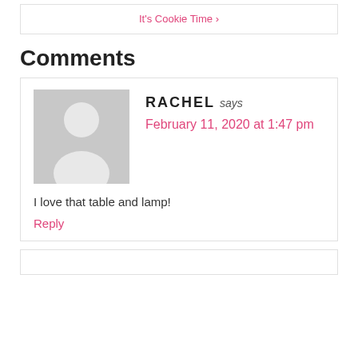It's Cookie Time ›
Comments
[Figure (illustration): Gray silhouette avatar of a person (default user profile image)]
RACHEL says
February 11, 2020 at 1:47 pm
I love that table and lamp!
Reply